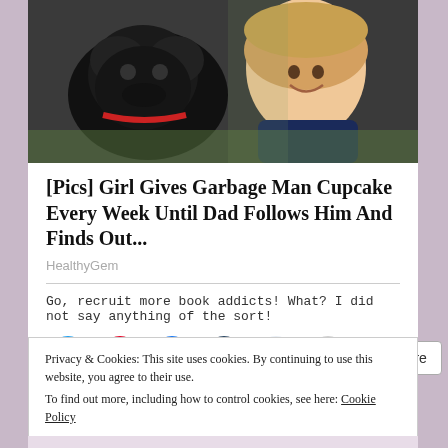[Figure (photo): Photo of a child smiling next to a large dark dog, outdoors with green background]
[Pics] Girl Gives Garbage Man Cupcake Every Week Until Dad Follows Him And Finds Out...
HealthyGem
Go, recruit more book addicts! What? I did not say anything of the sort!
Privacy & Cookies: This site uses cookies. By continuing to use this website, you agree to their use.
To find out more, including how to control cookies, see here: Cookie Policy